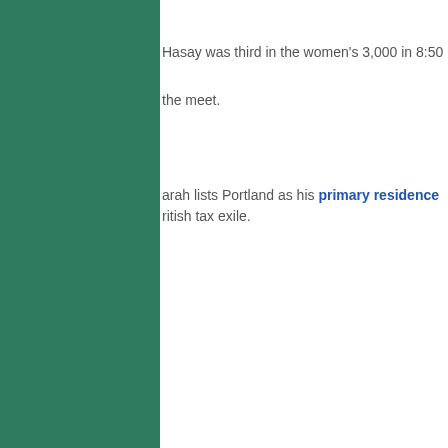Hasay was third in the women's 3,000 in 8:50
the meet.
arah lists Portland as his primary residence ritish tax exile.